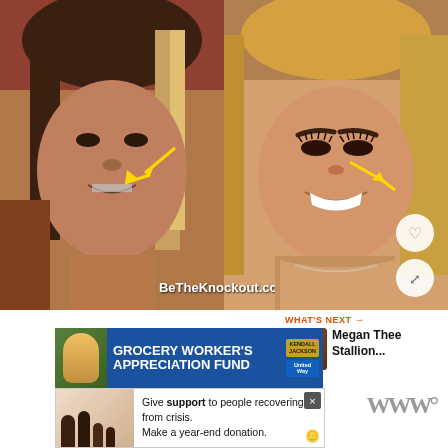[Figure (photo): Before and after comparison photo of a woman. Left side shows younger photo with darker hair and braces, right side shows current photo with blonde highlighted hair and makeup. Yellow arrows point to facial features on both sides. Watermark reads BeTheKnockout.com. Social media UI elements (heart and share buttons) visible on right edge.]
WHAT'S NEXT → Megan Thee Stallion...
[Figure (photo): Advertisement banner for Grocery Worker's Appreciation Fund with Kendall Jackson and United Way logos]
[Figure (photo): Advertisement: Give support to people recovering from crisis. Make a year-end donation.]